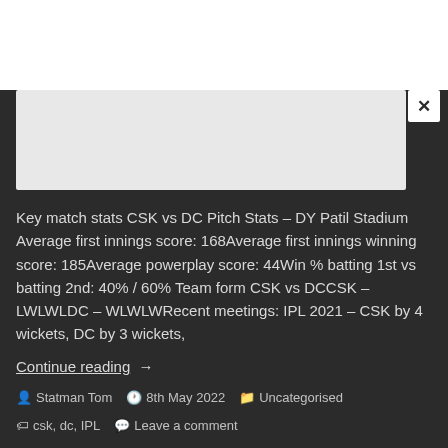[Figure (other): Advertisement banner area with close button (X)]
Key match stats CSK vs DC Pitch Stats – DY Patil Stadium Average first innings score: 168Average first innings winning score: 185Average powerplay score: 44Win % batting 1st vs batting 2nd: 40% / 60% Team form CSK vs DCCSK – LWLWLDC – WLWLWRecent meetings: IPL 2021 – CSK by 4 wickets, DC by 3 wickets,
Continue reading  →
Statman Tom   8th May 2022   Uncategorised
csk, dc, IPL   Leave a comment